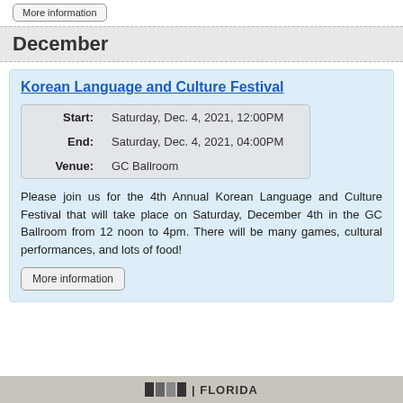More information
December
Korean Language and Culture Festival
|  |  |
| --- | --- |
| Start: | Saturday, Dec. 4, 2021, 12:00PM |
| End: | Saturday, Dec. 4, 2021, 04:00PM |
| Venue: | GC Ballroom |
Please join us for the 4th Annual Korean Language and Culture Festival that will take place on Saturday, December 4th in the GC Ballroom from 12 noon to 4pm. There will be many games, cultural performances, and lots of food!
More information
FLORIDA